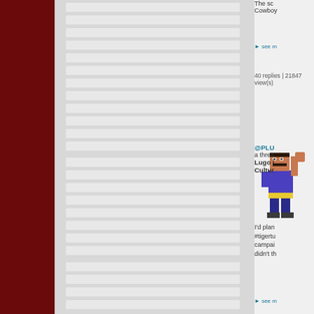40 replies | 21847 view(s)
[Figure (illustration): Pixel art avatar of a fighting game character in blue outfit, punching pose]
@PLU a thread Lugo i Cultur
NEWS M June 1s 100perc Makem
see more
47 replies | 5066 view(s)
[Figure (illustration): Pixel art avatar of a fighting game character in blue outfit, punching pose]
@PLU a thread Lugo i Cultur
I'd plan #tigertu campai didn't th
see more